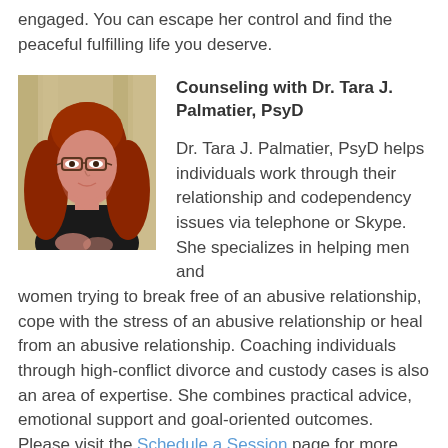engaged. You can escape her control and find the peaceful fulfilling life you deserve.
Counseling with Dr. Tara J. Palmatier, PsyD
[Figure (photo): Portrait photo of Dr. Tara J. Palmatier, a woman with long red wavy hair wearing glasses and a black top, seated indoors with curtains in background.]
Dr. Tara J. Palmatier, PsyD helps individuals work through their relationship and codependency issues via telephone or Skype. She specializes in helping men and women trying to break free of an abusive relationship, cope with the stress of an abusive relationship or heal from an abusive relationship. Coaching individuals through high-conflict divorce and custody cases is also an area of expertise. She combines practical advice, emotional support and goal-oriented outcomes. Please visit the Schedule a Session page for more information